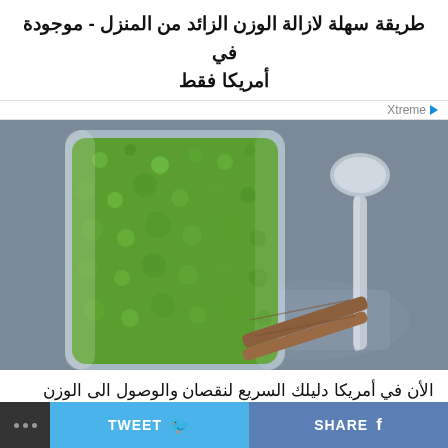طريقة سهلة لازالة الوزن الزائد من المنزل - موجودة في أمريكا فقط
[Figure (photo): A glass filled with a green smoothie drink containing chia seeds or similar seeds, with a metal spoon and cinnamon sticks beside it on a gray background]
الأن في أمريكا دليلك السريع لنقصان والوصول الى الوزن
… TWEET  SHARE